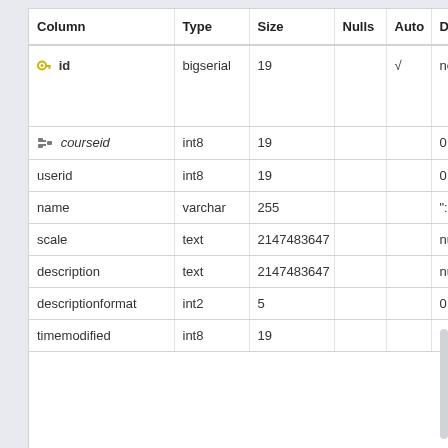| Column | Type | Size | Nulls | Auto | Default |
| --- | --- | --- | --- | --- | --- |
| id | bigserial | 19 |  | √ | nextval('a |
| courseid | int8 | 19 |  |  | 0 |
| userid | int8 | 19 |  |  | 0 |
| name | varchar | 255 |  |  | "::charact |
| scale | text | 2147483647 |  |  | null |
| description | text | 2147483647 |  |  | null |
| descriptionformat | int2 | 5 |  |  | 0 |
| timemodified | int8 | 19 |  |  | 0 |